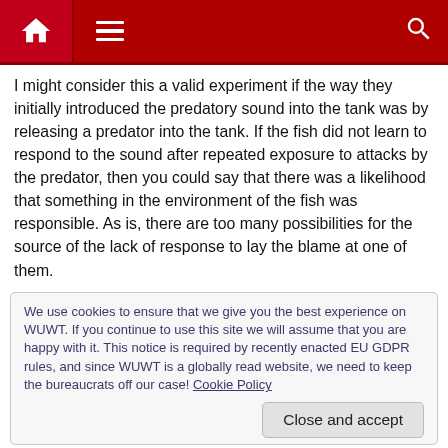Navigation bar with home, menu, and search icons
I might consider this a valid experiment if the way they initially introduced the predatory sound into the tank was by releasing a predator into the tank. If the fish did not learn to respond to the sound after repeated exposure to attacks by the predator, then you could say that there was a likelihood that something in the environment of the fish was responsible. As is, there are too many possibilities for the source of the lack of response to lay the blame at one of them.
We use cookies to ensure that we give you the best experience on WUWT. If you continue to use this site we will assume that you are happy with it. This notice is required by recently enacted EU GDPR rules, and since WUWT is a globally read website, we need to keep the bureaucrats off our case! Cookie Policy
to see floor bubbling in the CO2 using tiny bubble injectors